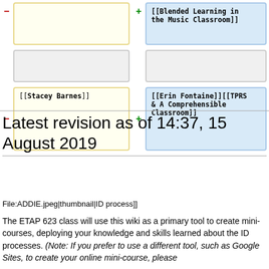[Figure (other): Diff view table showing wiki edits with yellow boxes (removed content) on left and blue boxes (added content) on right. Left column shows minus sign with [[Stacey Barnes]] in yellow box. Right column shows plus sign with [[Erin Fontaine]][[TPRS & A Comprehensible Classroom]] in blue box. Upper rows show empty/partial boxes.]
Latest revision as of 14:37, 15 August 2019
File:ADDIE.jpeg|thumbnail|ID process]]
The ETAP 623 class will use this wiki as a primary tool to create mini-courses, deploying your knowledge and skills learned about the ID processes. (Note: If you prefer to use a different tool, such as Google Sites, to create your online mini-course, please